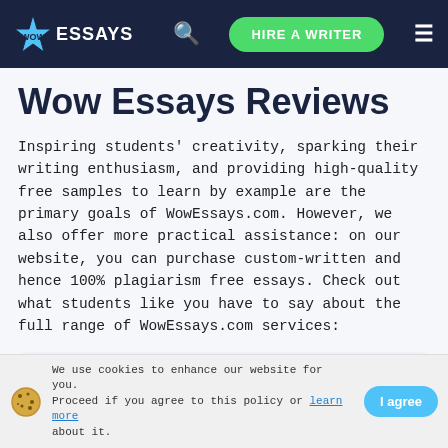WOW ESSAYS | HIRE A WRITER
Wow Essays Reviews
Inspiring students' creativity, sparking their writing enthusiasm, and providing high-quality free samples to learn by example are the primary goals of WowEssays.com. However, we also offer more practical assistance: on our website, you can purchase custom-written and hence 100% plagiarism free essays. Check out what students like you have to say about the full range of WowEssays.com services:
| Name | Rating |
| --- | --- |
| Kim | ★★★★★ |
We use cookies to enhance our website for you. Proceed if you agree to this policy or learn more about it.